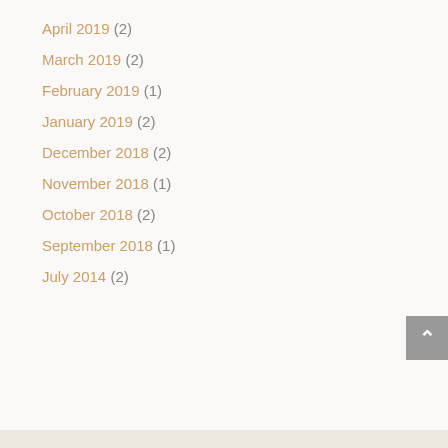April 2019 (2)
March 2019 (2)
February 2019 (1)
January 2019 (2)
December 2018 (2)
November 2018 (1)
October 2018 (2)
September 2018 (1)
July 2014 (2)